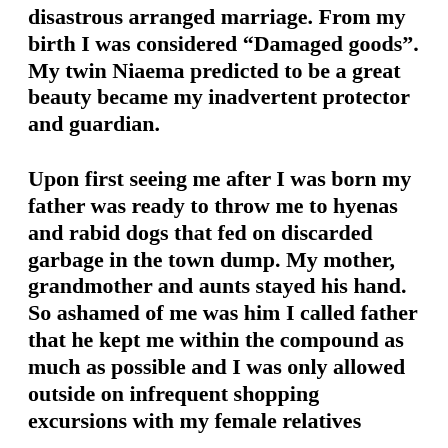disastrous arranged marriage. From my birth I was considered “Damaged goods”.  My twin Niaema predicted to be a great beauty became my inadvertent protector and guardian.
Upon first seeing me after I was born my father was ready to throw me to hyenas and rabid dogs that fed on discarded garbage in the town dump. My mother, grandmother and aunts stayed his hand. So ashamed of me was him I called father that he kept me within the compound as much as possible and I was only allowed outside on infrequent shopping excursions with my female relatives